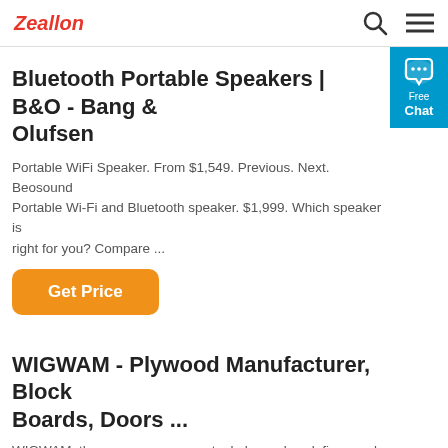Zealon [search icon] [menu icon]
Bluetooth Portable Speakers | B&O - Bang & Olufsen
Portable WiFi Speaker. From $1,549. Previous. Next. Beosound Portable Wi-Fi and Bluetooth speaker. $1,999. Which speaker is right for you? Compare ...
[Figure (other): Orange 'Get Price' button]
WIGWAM - Plywood Manufacturer, Block Boards, Doors ...
WIGWAM. the new genre conceptual plywood re-defines and re-